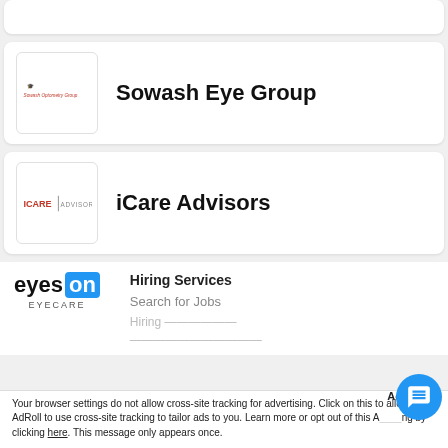[Figure (logo): Partial card at top, logo partially visible]
Sowash Eye Group
[Figure (logo): Sowash Optometry Group logo — small red hat icon with text]
iCare Advisors
[Figure (logo): iCARE ADVISORS logo in black and grey text]
[Figure (logo): eyes on EYECARE logo with blue ON badge]
Hiring Services
Search for Jobs
Your browser settings do not allow cross-site tracking for advertising. Click on this to allow AdRoll to use cross-site tracking to tailor ads to you. Learn more or opt out of this A ting by clicking here. This message only appears once.